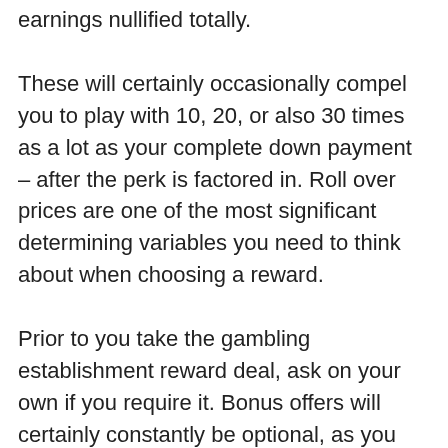earnings nullified totally.
These will certainly occasionally compel you to play with 10, 20, or also 30 times as a lot as your complete down payment – after the perk is factored in. Roll over prices are one of the most significant determining variables you need to think about when choosing a reward.
Prior to you take the gambling establishment reward deal, ask on your own if you require it. Bonus offers will certainly constantly be optional, as you can get in touch with the customer care division or the cashier and also ask to hold back or include the funds. There are numerous schools of thought concerning these on-line gambling